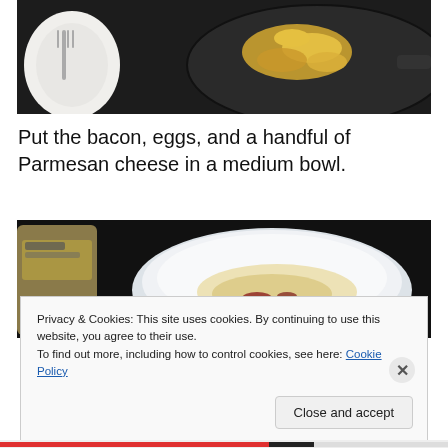[Figure (photo): Scrambled eggs cooking in a dark non-stick pan, viewed from above, with a white plate and fork visible on the left side]
Put the bacon, eggs, and a handful of Parmesan cheese in a medium bowl.
[Figure (photo): A white bowl containing pasta with cheese and bacon ingredients, with a package visible on the left, on a dark surface]
Privacy & Cookies: This site uses cookies. By continuing to use this website, you agree to their use.
To find out more, including how to control cookies, see here: Cookie Policy